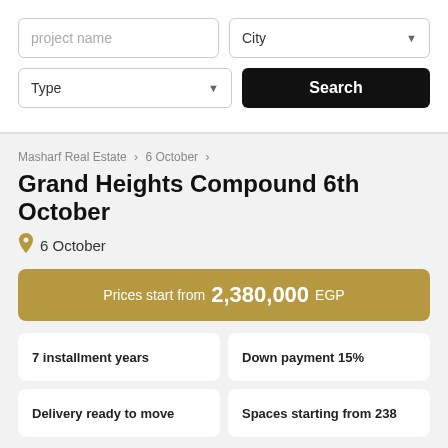project name
City
Type
Search
Masharf Real Estate > 6 October >
Grand Heights Compound 6th October
6 October
Prices start from 2,380,000 EGP
7 installment years
Down payment 15%
Delivery ready to move
Spaces starting from 238